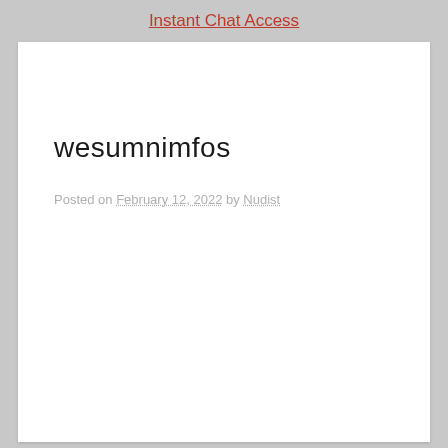Instant Chat Access
wesumnimfos
Posted on February 12, 2022 by Nudist